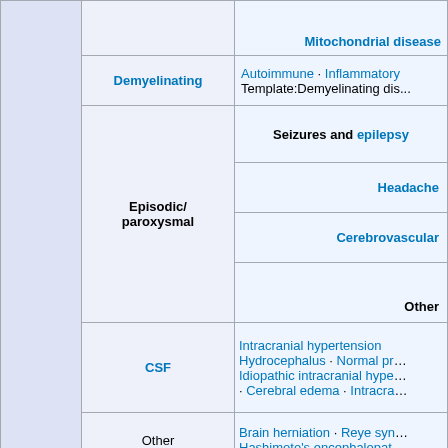| (col1) | (col2) | (col3) |
| --- | --- | --- |
|  |  | Mitochondrial disease |
|  | Demyelinating | Autoimmune · Inflammatory
Template:Demyelinating dis... |
|  | Episodic/
paroxysmal | Seizures and epilepsy |
|  |  | Headache |
|  |  | Cerebrovascular |
|  |  | Other |
|  | CSF | Intracranial hypertension
Hydrocephalus · Normal pr...
Idiopathic intracranial hype...
· Cerebral edema · Intracra... |
|  | Other | Brain herniation · Reye syn...
Hashimoto's encephalopat... |
|  | SA | Friedreich's ataxi... |